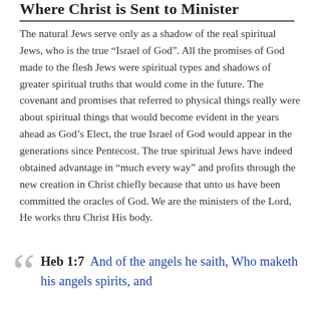Where Christ is Sent to Minister
The natural Jews serve only as a shadow of the real spiritual Jews, who is the true “Israel of God”. All the promises of God made to the flesh Jews were spiritual types and shadows of greater spiritual truths that would come in the future. The covenant and promises that referred to physical things really were about spiritual things that would become evident in the years ahead as God’s Elect, the true Israel of God would appear in the generations since Pentecost. The true spiritual Jews have indeed obtained advantage in “much every way” and profits through the new creation in Christ chiefly because that unto us have been committed the oracles of God. We are the ministers of the Lord, He works thru Christ His body.
Heb 1:7 And of the angels he saith, Who maketh his angels spirits, and